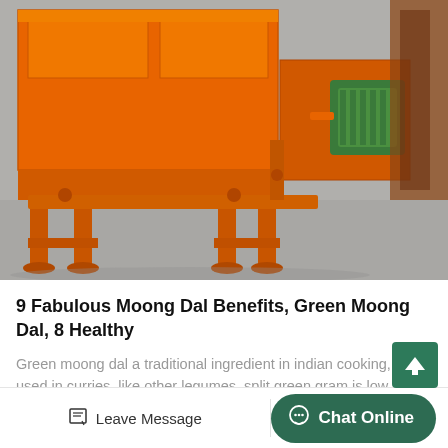[Figure (photo): Large orange industrial machine (vibratory feeder or conveyor) with green motor, photographed outdoors on concrete ground]
9 Fabulous Moong Dal Benefits, Green Moong Dal, 8 Healthy
Green moong dal a traditional ingredient in indian cooking, often used in curries. like other legumes, split green gram is low in f...
[Figure (infographic): Scroll-to-top button (dark green square with upward arrow)]
Leave Message | Chat Online